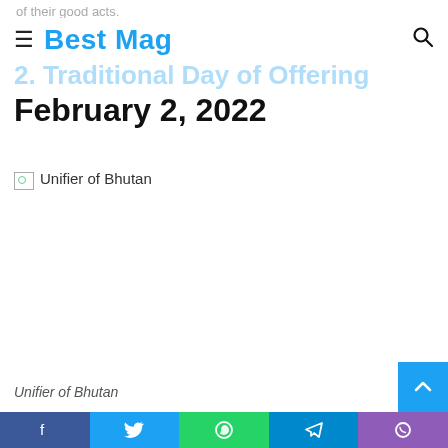of their good acts.
Best Mag
2. Traditional Day of Offering
February 2, 2022
[Figure (photo): Broken image placeholder labeled 'Unifier of Bhutan']
Unifier of Bhutan
The Traditional Day of Offering in the Bhutan timetable is